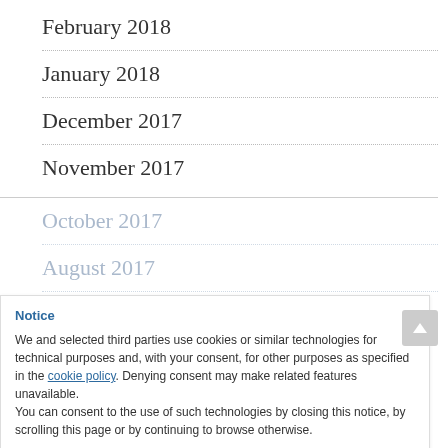February 2018
January 2018
December 2017
November 2017
October 2017
August 2017
July 2017
Notice
We and selected third parties use cookies or similar technologies for technical purposes and, with your consent, for other purposes as specified in the cookie policy. Denying consent may make related features unavailable.
You can consent to the use of such technologies by closing this notice, by scrolling this page or by continuing to browse otherwise.